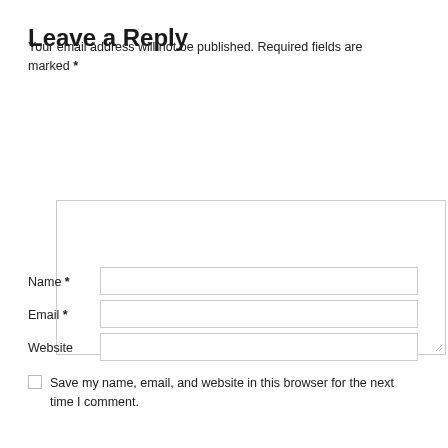Leave a Reply
Your email address will not be published. Required fields are marked *
[Figure (other): Large comment text area input box with resize handle]
Name *
[Figure (other): Name input field]
Email *
[Figure (other): Email input field]
Website
[Figure (other): Website input field]
Save my name, email, and website in this browser for the next time I comment.